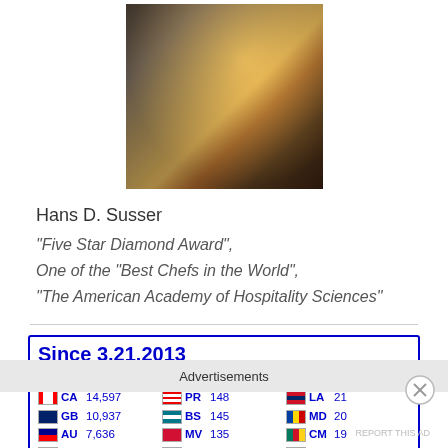[Figure (photo): Photo of chefs working in a kitchen, with cooking pans and equipment visible, flames in background]
Hans D. Susser
"Five Star Diamond Award",
One of the "Best Chefs in the World",
"The American Academy of Hospitality Sciences"
[Figure (infographic): Website visitor statistics counter showing visits by country since 3.21.2013. US 132,550 | PE 149 | MG 22 | CA 14,597 | PR 148 | LA 21 | GB 10,937 | BS 145 | MD 20 | AU 7,636 | MV 135 | CM 19 | DE 7,479 | CY 134 | SR 18 | FR 4,727 | IN 130 | IC 17]
Advertisements